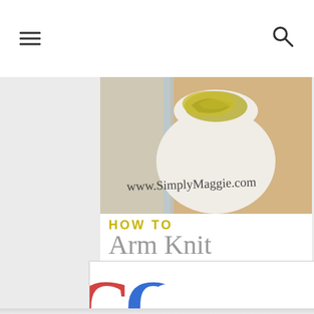≡  🔍
[Figure (photo): A white ceramic bowl or vase with yellow/olive yarn draped over it, sitting on a wooden surface near a window. Text overlay reads 'www.SimplyMaggie.com' in handwritten script.]
HOW TO Arm Knit A SINGLE WRAP INFINITY SCARF IN 20 MINUTES!
[Figure (photo): Partially visible colorful magazine/publication with large colorful letters 'GO' and 'FINDING' in textured/patterned lettering, with reflection below.]